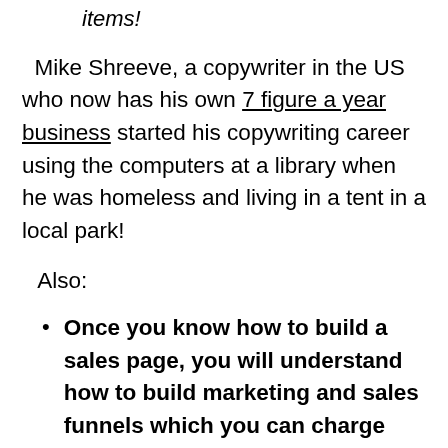laptop. you don't even need to own said items!
Mike Shreeve, a copywriter in the US who now has his own 7 figure a year business started his copywriting career using the computers at a library when he was homeless and living in a tent in a local park!
Also:
Once you know how to build a sales page, you will understand how to build marketing and sales funnels which you can charge other people thousands –